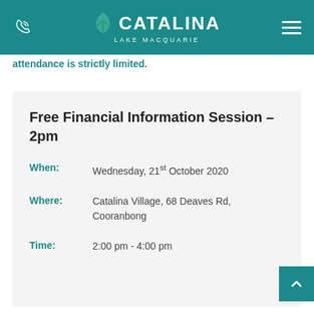[Figure (logo): Catalina Lake Macquarie logo with teal background, phone icon on left, hamburger menu on right]
attendance is strictly limited.
Free Financial Information Session – 2pm
When: Wednesday, 21st October 2020
Where: Catalina Village, 68 Deaves Rd, Cooranbong
Time: 2:00 pm - 4:00 pm